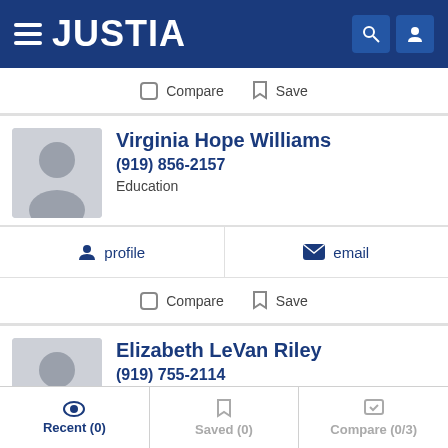JUSTIA
Compare  Save
Virginia Hope Williams
(919) 856-2157
Education
profile  email
Compare  Save
Elizabeth LeVan Riley
(919) 755-2114
Education, Business and Construction
Recent (0)  Saved (0)  Compare (0/3)